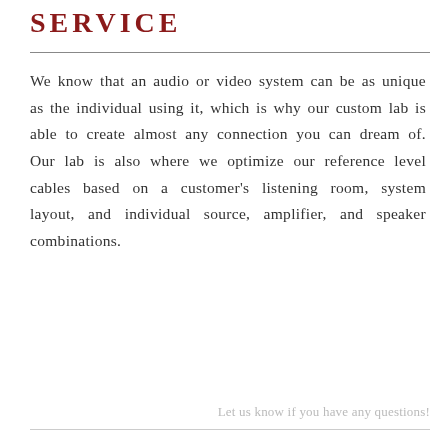SERVICE
We know that an audio or video system can be as unique as the individual using it, which is why our custom lab is able to create almost any connection you can dream of. Our lab is also where we optimize our reference level cables based on a customer's listening room, system layout, and individual source, amplifier, and speaker combinations.
Let us know if you have any questions!